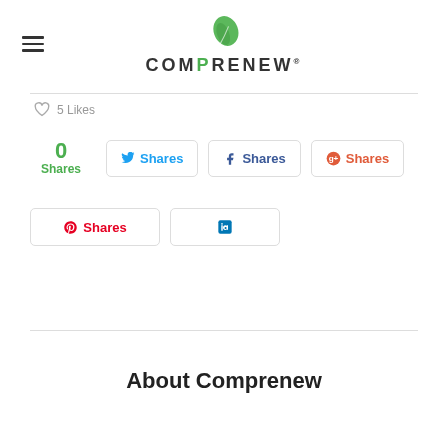COMPRENEW
5 Likes
0 Shares
Shares (Twitter)
Shares (Facebook)
Shares (Google+)
Shares (Pinterest)
LinkedIn
About Comprenew